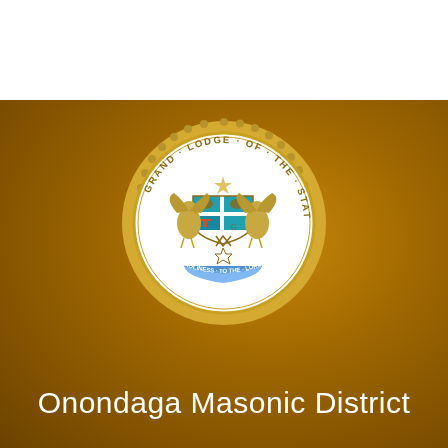[Figure (logo): Grand Lodge of the State of New York Masonic seal — circular emblem with gold serrated border, two eagle supporters flanking a quartered shield with Masonic symbols, wreath, and banner reading HOLINESS TO THE LORD]
Onondaga Masonic District